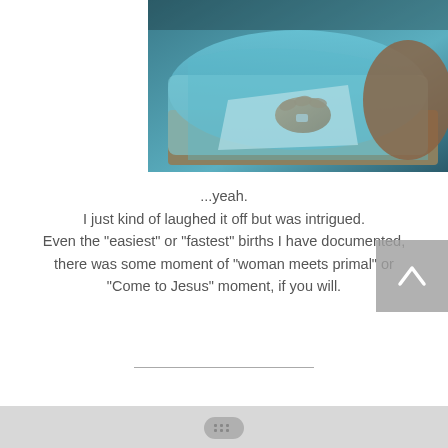[Figure (photo): Hospital bed scene showing a patient in a teal/blue hospital gown, with a hand resting on the bed, medical setting with teal sheets and clinical environment]
...yeah.
I just kind of laughed it off but was intrigued.
Even the "easiest" or "fastest" births I have documented, there was some moment of "woman meets primal" or "Come to Jesus" moment, if you will.